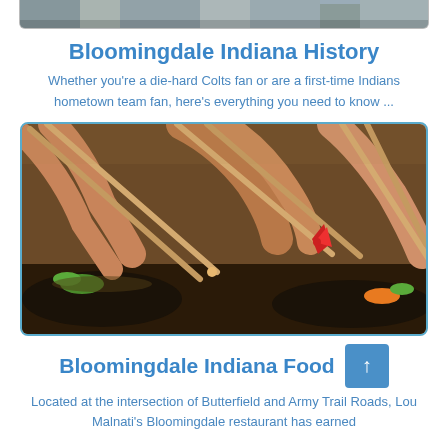[Figure (photo): Partial view of a building/streetscape photo cropped at top of page]
Bloomingdale Indiana History
Whether you're a die-hard Colts fan or are a first-time Indians hometown team fan, here's everything you need to know ...
[Figure (photo): Close-up photo of people eating with chopsticks from Asian food bowls, with colorful vegetables visible]
Bloomingdale Indiana Food
Located at the intersection of Butterfield and Army Trail Roads, Lou Malnati's Bloomingdale restaurant has earned